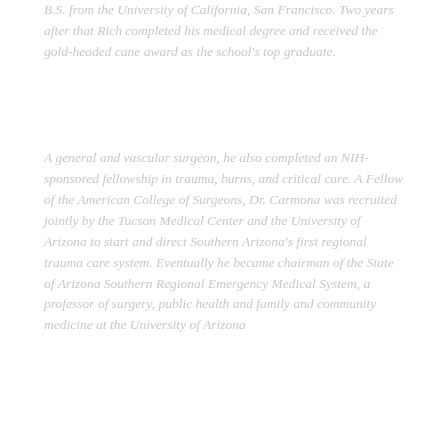B.S. from the University of California, San Francisco. Two years after that Rich completed his medical degree and received the gold-headed cane award as the school's top graduate.
A general and vascular surgeon, he also completed an NIH-sponsored fellowship in trauma, burns, and critical care. A Fellow of the American College of Surgeons, Dr. Carmona was recruited jointly by the Tucson Medical Center and the University of Arizona to start and direct Southern Arizona's first regional trauma care system. Eventually he became chairman of the State of Arizona Southern Regional Emergency Medical System, a professor of surgery, public health and family and community medicine at the University of Arizona